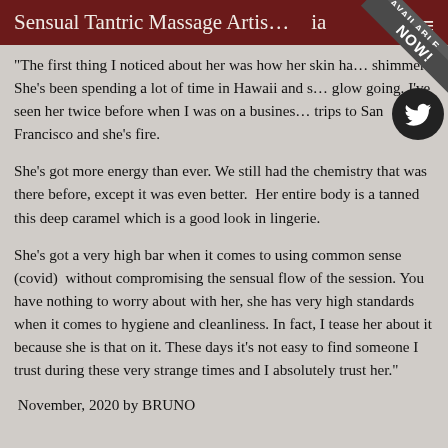Sensual Tantric Massage Artis... ia
"The first thing I noticed about her was how her skin ha... shimmer. She's been spending a lot of time in Hawaii and s... glow going. I've seen her twice before when I was on a busines... trips to San Francisco and she's fire.
She's got more energy than ever. We still had the chemistry that was there before, except it was even better. Her entire body is a tanned this deep caramel which is a good look in lingerie.
She's got a very high bar when it comes to using common sense (covid) without compromising the sensual flow of the session. You have nothing to worry about with her, she has very high standards when it comes to hygiene and cleanliness. In fact, I tease her about it because she is that on it. These days it's not easy to find someone I trust during these very strange times and I absolutely trust her."
November, 2020 by BRUNO